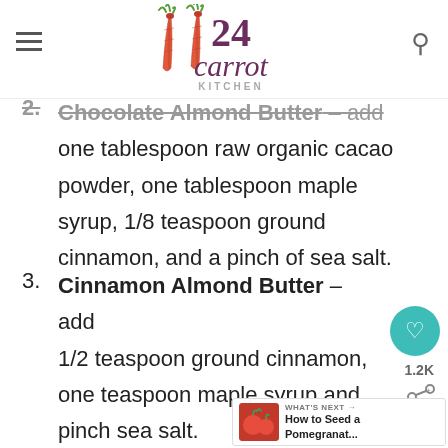24 Carrot Kitchen
Chocolate Almond Butter – add one tablespoon raw organic cacao powder, one tablespoon maple syrup, 1/8 teaspoon ground cinnamon, and a pinch of sea salt.
Cinnamon Almond Butter – add 1/2 teaspoon ground cinnamon, one teaspoon maple syrup and pinch sea salt.